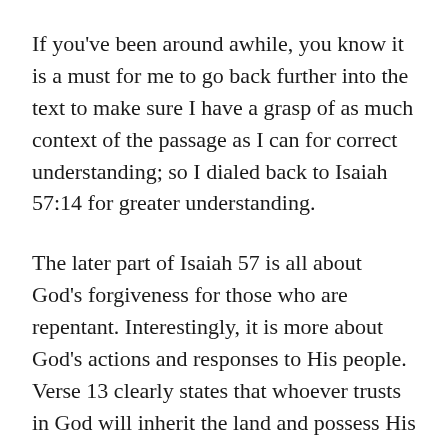If you've been around awhile, you know it is a must for me to go back further into the text to make sure I have a grasp of as much context of the passage as I can for correct understanding; so I dialed back to Isaiah 57:14 for greater understanding.
The later part of Isaiah 57 is all about God's forgiveness for those who are repentant. Interestingly, it is more about God's actions and responses to His people. Verse 13 clearly states that whoever trusts in God will inherit the land and possess His holy mountain. God instructs Isaiah to rebuild the road; moving all rocks and stones. It's to be a smooth road without rocks and stones so that His people can return from captivity to the safety, protection, and freedom in His presence. They had been led away captive by greediness and the desire to